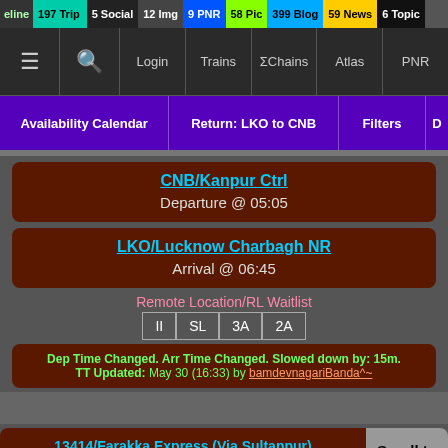eline 197 Trip | 5 Social | 12 Img | 9 PNR | 58 Pic | 399 Blog | 59 News | 6 Topic
[Figure (screenshot): Navigation bar with menu, search, Login, Trains, ΣChains, Atlas, PNR icons]
[Figure (screenshot): Purple action bar: Availability Calendar | Return: LKO to CNB | Filters | D]
CNB/Kanpur Ctrl
Departure @ 05:05
LKO/Lucknow Charbagh NR
Arrival @ 06:45
Remote Location/RL Waitlist
II | SL | 3A | 2A
Dep Time Changed. Arr Time Changed. Slowed down by: 15m.
TT Updated: May 30 (16:33) by bamdevnagariBanda^~
13414/Farakka Express (Via Sultanpur)
Sun | Tue | Thu